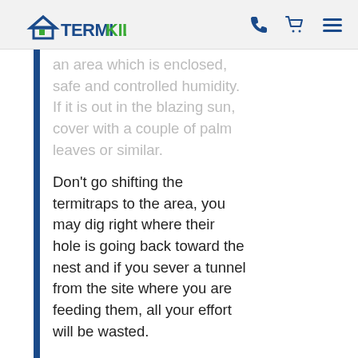TERMIKILL
an area which is enclosed, safe and controlled humidity. If it is out in the blazing sun, cover with a couple of palm leaves or similar.
Don't go shifting the termitraps to the area, you may dig right where their hole is going back toward the nest and if you sever a tunnel from the site where you are feeding them, all your effort will be wasted.
Best wishes,